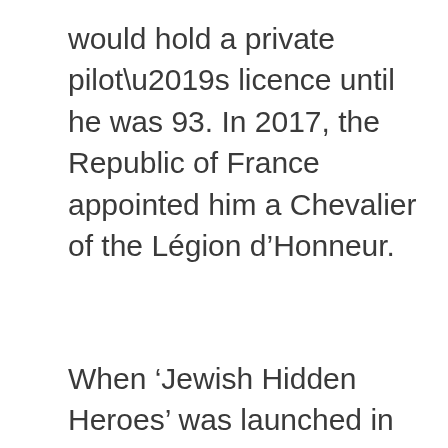would hold a private pilot’s licence until he was 93. In 2017, the Republic of France appointed him a Chevalier of the Légion d’Honneur.
When ‘Jewish Hidden Heroes’ was launched in 2018, Benny was interviewed by Museum